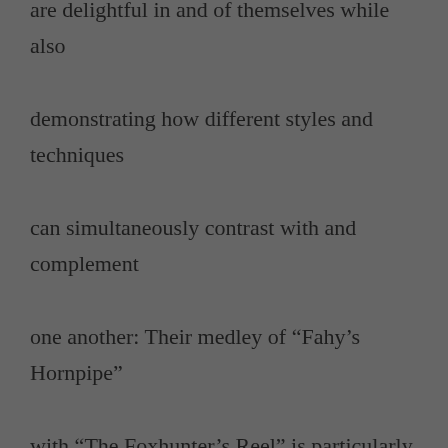are delightful in and of themselves while also demonstrating how different styles and techniques can simultaneously contrast with and complement one another: Their medley of “Fahy’s Hornpipe” with “The Foxhunter’s Reel” is particularly exhilarating.

    Leonard Barry, an uilleann piper from Kerry who’s a longtime Sligo resident, plays with Burke on three superlative tracks, including an invigorating trio of slides (“The Clog/Abbey’s